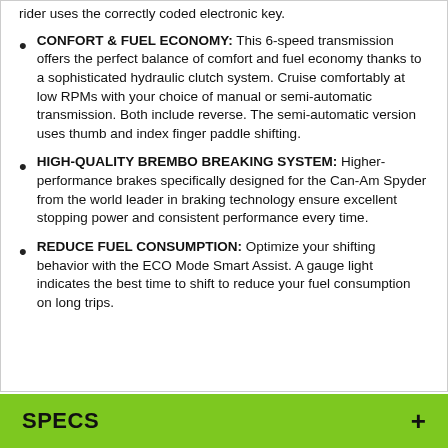rider uses the correctly coded electronic key.
CONFORT & FUEL ECONOMY: This 6-speed transmission offers the perfect balance of comfort and fuel economy thanks to a sophisticated hydraulic clutch system. Cruise comfortably at low RPMs with your choice of manual or semi-automatic transmission. Both include reverse. The semi-automatic version uses thumb and index finger paddle shifting.
HIGH-QUALITY BREMBO BREAKING SYSTEM: Higher-performance brakes specifically designed for the Can-Am Spyder from the world leader in braking technology ensure excellent stopping power and consistent performance every time.
REDUCE FUEL CONSUMPTION: Optimize your shifting behavior with the ECO Mode Smart Assist. A gauge light indicates the best time to shift to reduce your fuel consumption on long trips.
SPECS +